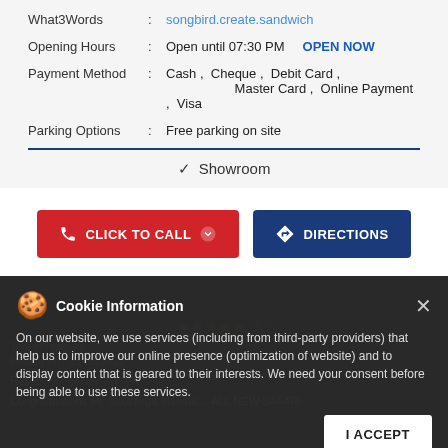What3Words : songbird.create.sandwich
Opening Hours : Open until 07:30 PM   OPEN NOW
Payment Method : Cash , Cheque , Debit Card , Master Card , Online Payment , Visa
Parking Options : Free parking on site
✓ Showroom
CLICK TO CALL
DIRECTIONS
Review Us
Cookie Information
On our website, we use services (including from third-party providers) that help us to improve our online presence (optimization of website) and to display content that is geared to their interests. We need your consent before being able to use these services.
Toni eel raiganj
Posted on : 15-05-2022
Rated ★★★★★
Congratulations Mr. Gouranga Mandal,... ALL NEW SAFARI
I ACCEPT